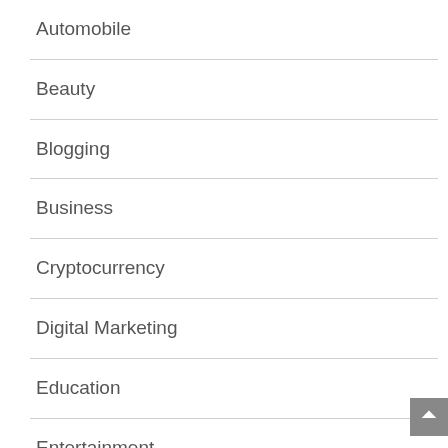Automobile
Beauty
Blogging
Business
Cryptocurrency
Digital Marketing
Education
Entertainment
Fashion
Finance
Food
Games